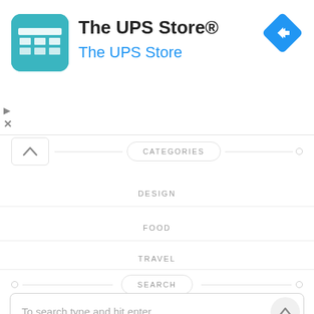[Figure (screenshot): The UPS Store app advertisement banner with teal icon showing a storefront, app title 'The UPS Store®', subtitle 'The UPS Store', and a blue diamond navigation icon in top right]
CATEGORIES
DESIGN
FOOD
TRAVEL
SEARCH
To search type and hit enter